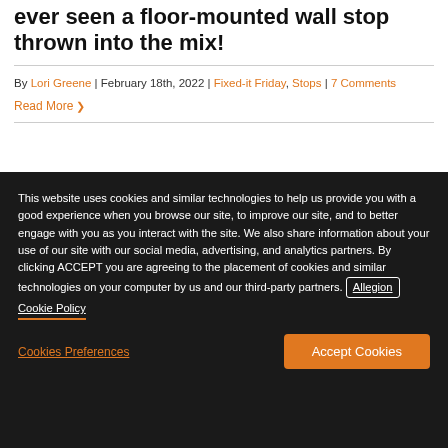ever seen a floor-mounted wall stop thrown into the mix!
By Lori Greene | February 18th, 2022 | Fixed-it Friday, Stops | 7 Comments
Read More
This website uses cookies and similar technologies to help us provide you with a good experience when you browse our site, to improve our site, and to better engage with you as you interact with the site. We also share information about your use of our site with our social media, advertising, and analytics partners. By clicking ACCEPT you are agreeing to the placement of cookies and similar technologies on your computer by us and our third-party partners. Allegion Cookie Policy
Cookies Preferences
Accept Cookies